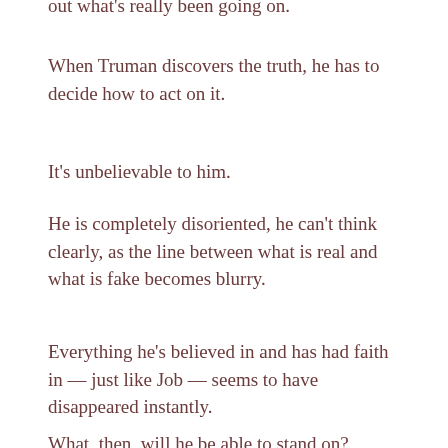out what's really been going on.
When Truman discovers the truth, he has to decide how to act on it.
It's unbelievable to him.
He is completely disoriented, he can't think clearly, as the line between what is real and what is fake becomes blurry.
Everything he's believed in and has had faith in — just like Job — seems to have disappeared instantly.
What, then, will he be able to stand on?